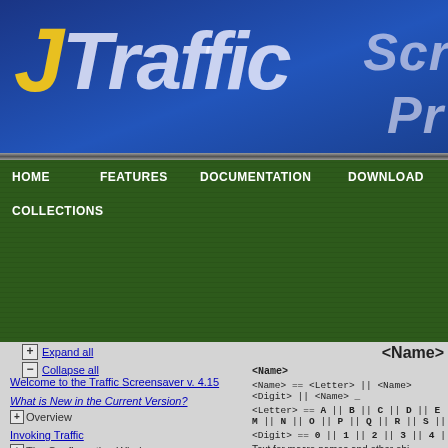JTraffic Screensaver Program
HOME  FEATURES  DOCUMENTATION  DOWNLOAD  COLLECTIONS
Expand all  Collapse all
Welcome to the Traffic Screensaver v. 4.15
What is New in the Current Version?
+ Overview
Invoking Traffic
+ The Configuration Window
+ Program Window
+ Stock List
+ Description Editor
+ Graphic Testpad
+ Timetable Editor
+ Timetable Syntax and Semanics
+ Stock List File
<Name>
<Name>
Text for macro names and other obj...
The text must begin with one of the English alphabet and may only be c characters, the number characters a character. The <Name> field is not various cases it is possible that usin alphabets may work in the program guaranteed that this will work in all c continue to function properly in futu program. Therefore, you should n